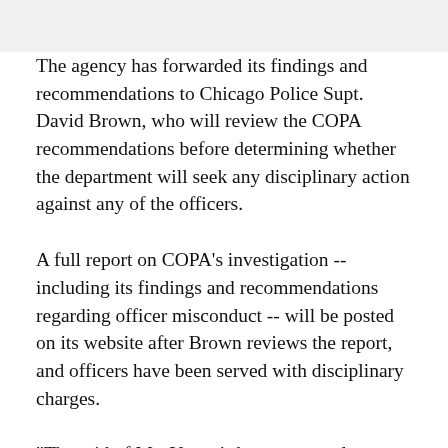The agency has forwarded its findings and recommendations to Chicago Police Supt. David Brown, who will review the COPA recommendations before determining whether the department will seek any disciplinary action against any of the officers.
A full report on COPA's investigation -- including its findings and recommendations regarding officer misconduct -- will be posted on its website after Brown reviews the report, and officers have been served with disciplinary charges.
"The raid of Ms. Young's home was truly painful to watch," COPA Chief Administrator Sydney Roberts...